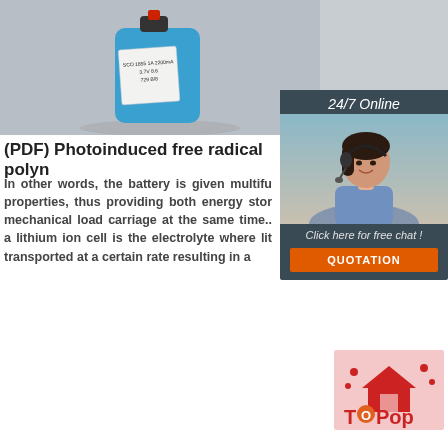[Figure (photo): Photo of a blue cylindrical lithium ion battery pack with a white label, resting on a grey surface. A small red connector is visible at the top.]
[Figure (other): 24/7 Online chat widget with a photo of a female customer service agent wearing a headset, text 'Click here for free chat!' and an orange QUOTATION button.]
(PDF) Photoinduced free radical polyn
In other words, the battery is given multifu properties, thus providing both energy stor mechanical load carriage at the same time.. a lithium ion cell is the electrolyte where lit transported at a certain rate resulting in a
[Figure (logo): TOPop logo — red house icon with dots, text 'TOPop' in red and orange on a pink background square.]